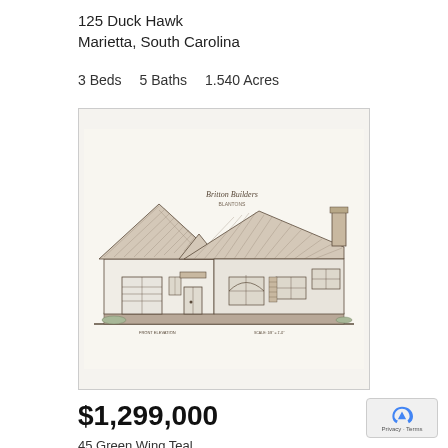125 Duck Hawk
Marietta, South Carolina
3 Beds   5 Baths   1.540 Acres
[Figure (illustration): Architectural elevation sketch of a large single-story house with multiple roof peaks, a garage, arched windows, stone accents, and a chimney. Labeled with a script signature 'Britton Builders' and a subtitle.]
$1,299,000
45 Green Wing Teal
Marietta, South Carolina